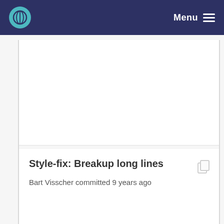Menu
Style-fix: Breakup long lines
Bart Visscher committed 9 years ago